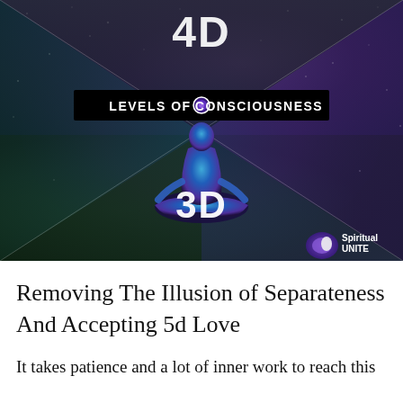[Figure (illustration): Spiritual infographic showing '4D' at top in a dark triangular section with galaxy background, a banner reading 'LEVELS OF CONSCIOUSNESS' with a purple circle in the center, a meditating silhouette figure with galaxy interior labeled '3D', green triangular sections at bottom corners, and a 'Spiritual Unite' logo in the bottom right corner.]
Removing The Illusion of Separateness And Accepting 5d Love
It takes patience and a lot of inner work to reach this